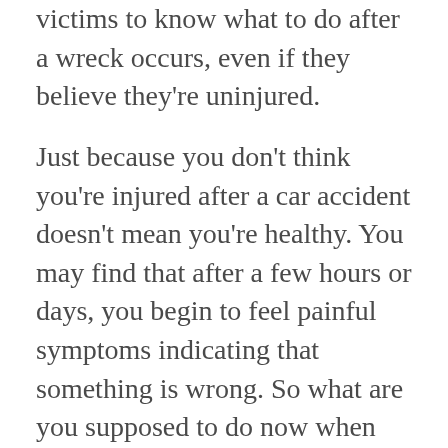victims to know what to do after a wreck occurs, even if they believe they're uninjured.
Just because you don't think you're injured after a car accident doesn't mean you're healthy. You may find that after a few hours or days, you begin to feel painful symptoms indicating that something is wrong. So what are you supposed to do now when there's no police report to refer to? There's a form Atlanta citizens should fill out called an SR-13, which you can find here.
It's extremely important for you to self-report after a crash. You should still get the necessary information from the other driver involved. This can include their name, insurance policy